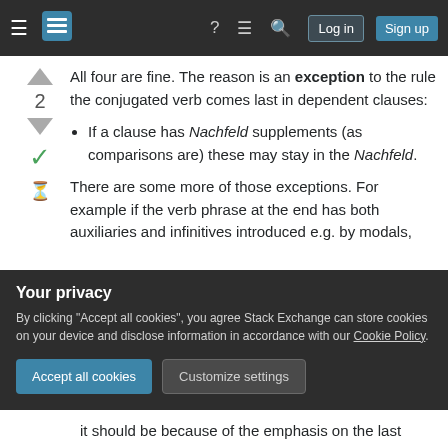Stack Exchange navigation bar with hamburger menu, logo, help, chat, search icons, Log in and Sign up buttons
All four are fine. The reason is an exception to the rule the conjugated verb comes last in dependent clauses:
If a clause has Nachfeld supplements (as comparisons are) these may stay in the Nachfeld.
There are some more of those exceptions. For example if the verb phrase at the end has both auxiliaries and infinitives introduced e.g. by modals,
Your privacy
By clicking "Accept all cookies", you agree Stack Exchange can store cookies on your device and disclose information in accordance with our Cookie Policy.
it should be because of the emphasis on the last